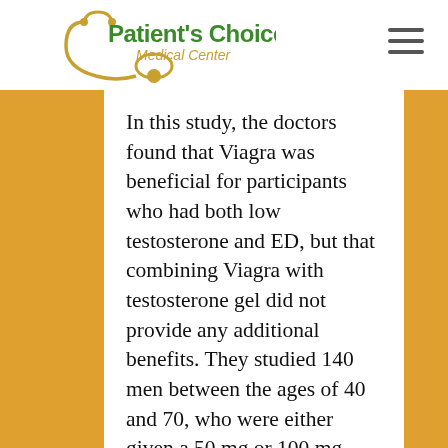[Figure (logo): Patient's Choice Medical Center logo with stethoscope graphic, green and gold text]
In this study, the doctors found that Viagra was beneficial for participants who had both low testosterone and ED, but that combining Viagra with testosterone gel did not provide any additional benefits. They studied 140 men between the ages of 40 and 70, who were either given a 50 mg or 100 mg dose of Viagra before sexual